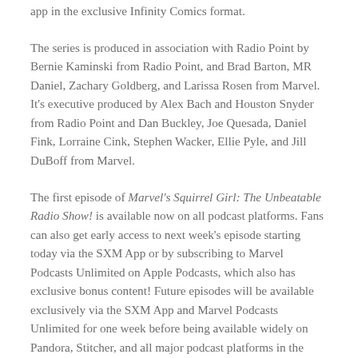app in the exclusive Infinity Comics format.
The series is produced in association with Radio Point by Bernie Kaminski from Radio Point, and Brad Barton, MR Daniel, Zachary Goldberg, and Larissa Rosen from Marvel. It's executive produced by Alex Bach and Houston Snyder from Radio Point and Dan Buckley, Joe Quesada, Daniel Fink, Lorraine Cink, Stephen Wacker, Ellie Pyle, and Jill DuBoff from Marvel.
The first episode of Marvel's Squirrel Girl: The Unbeatable Radio Show! is available now on all podcast platforms. Fans can also get early access to next week's episode starting today via the SXM App or by subscribing to Marvel Podcasts Unlimited on Apple Podcasts, which also has exclusive bonus content! Future episodes will be available exclusively via the SXM App and Marvel Podcasts Unlimited for one week before being available widely on Pandora, Stitcher, and all major podcast platforms in the U.S.